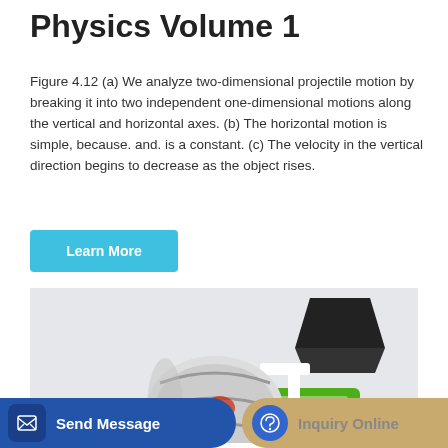Physics Volume 1
Figure 4.12 (a) We analyze two-dimensional projectile motion by breaking it into two independent one-dimensional motions along the vertical and horizontal axes. (b) The horizontal motion is simple, because. and. is a constant. (c) The velocity in the vertical direction begins to decrease as the object rises.
Learn More
[Figure (photo): A green self-loading concrete mixer truck with a rotating drum, black hopper on top, white mixing barrel, and green chassis with wheels, photographed on a light gray background.]
Send Message
Inquiry Online